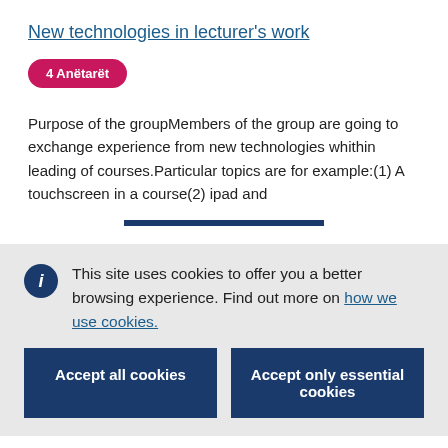New technologies in lecturer's work
4 Anëtarët
Purpose of the groupMembers of the group are going to exchange experience from new technologies whithin leading of courses.Particular topics are for example:(1) A touchscreen in a course(2) ipad and
This site uses cookies to offer you a better browsing experience. Find out more on how we use cookies.
Accept all cookies
Accept only essential cookies